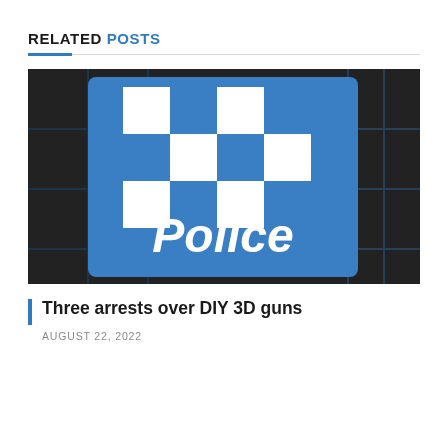RELATED POSTS
[Figure (photo): Australian Police sign with blue and white checkered pattern and 'Police' text, photographed against a dark tiled background with blue grid lines]
Three arrests over DIY 3D guns
AUGUST 22, 2022